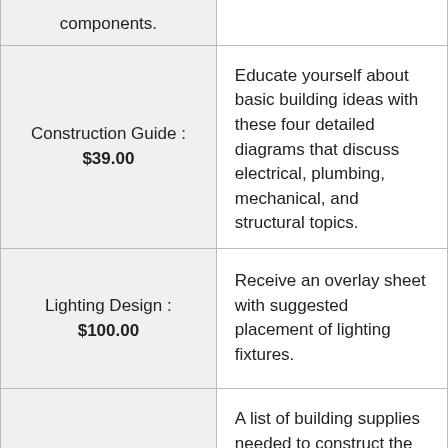| Item | Description |
| --- | --- |
| components. |  |
| Construction Guide : $39.00 | Educate yourself about basic building ideas with these four detailed diagrams that discuss electrical, plumbing, mechanical, and structural topics. |
| Lighting Design : $100.00 | Receive an overlay sheet with suggested placement of lighting fixtures. |
|  | A list of building supplies needed to construct the infrastructure of your |